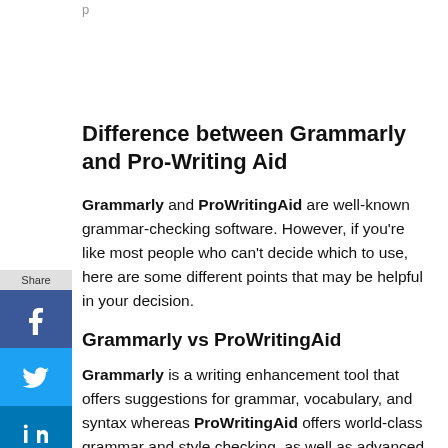p
Difference between Grammarly and Pro-Writing Aid
Grammarly and ProWritingAid are well-known grammar-checking software. However, if you're like most people who can't decide which to use, here are some different points that may be helpful in your decision.
Grammarly vs ProWritingAid
Grammarly is a writing enhancement tool that offers suggestions for grammar, vocabulary, and syntax whereas ProWritingAid offers world-class grammar and style checking, as well as advanced reports to help you strengthen your writing.
Grammarly provides Android and IOS apps whereas ProWritingAid doesn't have a mobile or IOS app.